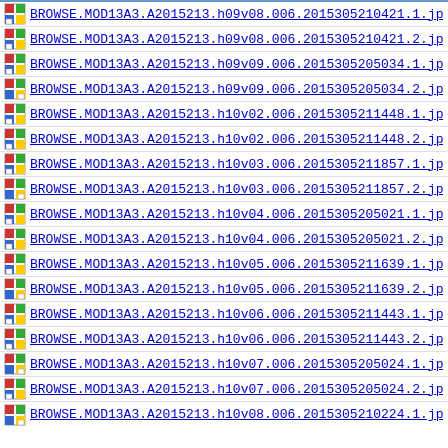BROWSE.MOD13A3.A2015213.h09v08.006.2015305210421.1.jp
BROWSE.MOD13A3.A2015213.h09v08.006.2015305210421.2.jp
BROWSE.MOD13A3.A2015213.h09v09.006.2015305205034.1.jp
BROWSE.MOD13A3.A2015213.h09v09.006.2015305205034.2.jp
BROWSE.MOD13A3.A2015213.h10v02.006.2015305211448.1.jp
BROWSE.MOD13A3.A2015213.h10v02.006.2015305211448.2.jp
BROWSE.MOD13A3.A2015213.h10v03.006.2015305211857.1.jp
BROWSE.MOD13A3.A2015213.h10v03.006.2015305211857.2.jp
BROWSE.MOD13A3.A2015213.h10v04.006.2015305205021.1.jp
BROWSE.MOD13A3.A2015213.h10v04.006.2015305205021.2.jp
BROWSE.MOD13A3.A2015213.h10v05.006.2015305211639.1.jp
BROWSE.MOD13A3.A2015213.h10v05.006.2015305211639.2.jp
BROWSE.MOD13A3.A2015213.h10v06.006.2015305211443.1.jp
BROWSE.MOD13A3.A2015213.h10v06.006.2015305211443.2.jp
BROWSE.MOD13A3.A2015213.h10v07.006.2015305205024.1.jp
BROWSE.MOD13A3.A2015213.h10v07.006.2015305205024.2.jp
BROWSE.MOD13A3.A2015213.h10v08.006.2015305210224.1.jp